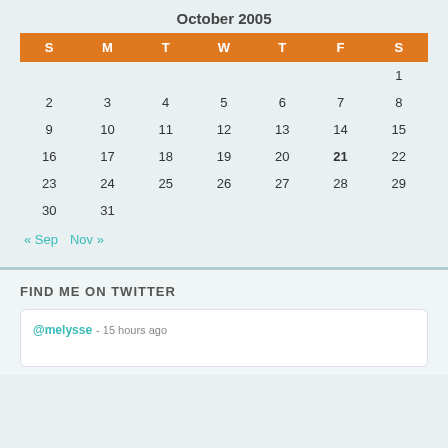October 2005
| S | M | T | W | T | F | S |
| --- | --- | --- | --- | --- | --- | --- |
|  |  |  |  |  |  | 1 |
| 2 | 3 | 4 | 5 | 6 | 7 | 8 |
| 9 | 10 | 11 | 12 | 13 | 14 | 15 |
| 16 | 17 | 18 | 19 | 20 | 21 | 22 |
| 23 | 24 | 25 | 26 | 27 | 28 | 29 |
| 30 | 31 |  |  |  |  |  |
« Sep  Nov »
FIND ME ON TWITTER
@melysse - 15 hours ago